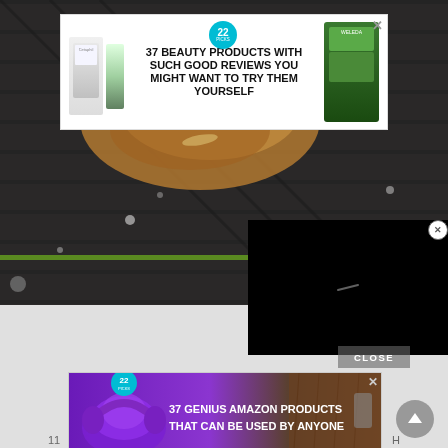[Figure (screenshot): Background food/cooking image on a dark grill surface with water droplets and a green horizontal line]
[Figure (screenshot): Advertisement banner: 37 BEAUTY PRODUCTS WITH SUCH GOOD REVIEWS YOU MIGHT WANT TO TRY THEM YOURSELF, with Cetaphil and Weleda product images and a badge showing 22]
[Figure (screenshot): Black video player overlay with close X button]
CLOSE
[Figure (screenshot): Advertisement banner: 37 GENIUS AMAZON PRODUCTS THAT CAN BE USED BY ANYONE, showing purple headphones on a wooden surface with a badge showing 22]
[Figure (screenshot): Scroll-to-top circular button]
11 H